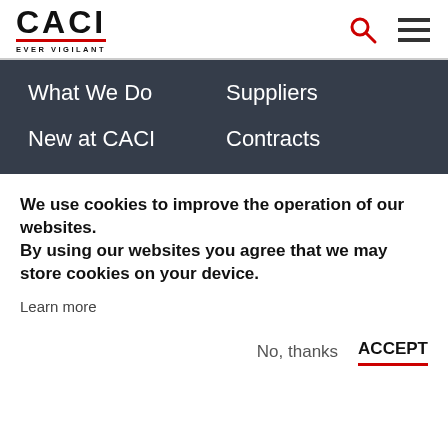[Figure (logo): CACI logo with red underline and EVER VIGILANT tagline]
What We Do
Suppliers
New at CACI
Contracts
We use cookies to improve the operation of our websites. By using our websites you agree that we may store cookies on your device.
Learn more
No, thanks
ACCEPT